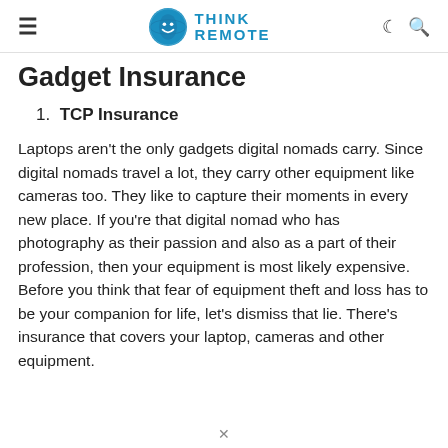Think Remote
Gadget Insurance
1. TCP Insurance
Laptops aren't the only gadgets digital nomads carry. Since digital nomads travel a lot, they carry other equipment like cameras too. They like to capture their moments in every new place. If you're that digital nomad who has photography as their passion and also as a part of their profession, then your equipment is most likely expensive. Before you think that fear of equipment theft and loss has to be your companion for life, let's dismiss that lie. There's insurance that covers your laptop, cameras and other equipment.